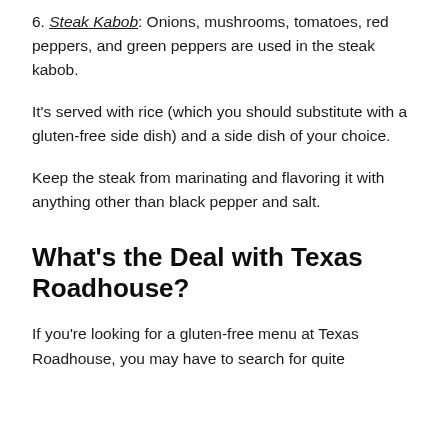6. Steak Kabob: Onions, mushrooms, tomatoes, red peppers, and green peppers are used in the steak kabob.
It's served with rice (which you should substitute with a gluten-free side dish) and a side dish of your choice.
Keep the steak from marinating and flavoring it with anything other than black pepper and salt.
What's the Deal with Texas Roadhouse?
If you're looking for a gluten-free menu at Texas Roadhouse, you may have to search for quite